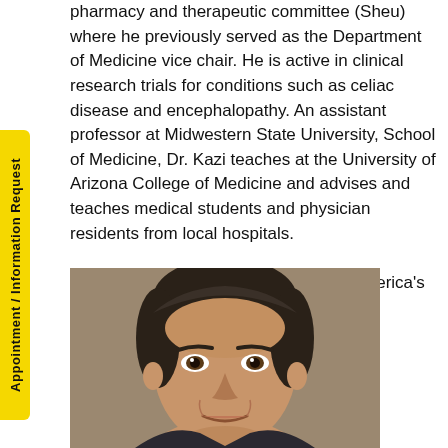pharmacy and therapeutic committee (Sheu) where he previously served as the Department of Medicine vice chair. He is active in clinical research trials for conditions such as celiac disease and encephalopathy. An assistant professor at Midwestern State University, School of Medicine, Dr. Kazi teaches at the University of Arizona College of Medicine and advises and teaches medical students and physician residents from local hospitals.

Dr. Kazi has been selected as one of America's top physicians.
[Figure (photo): Headshot photograph of Dr. Kazi, a middle-aged man with dark hair, against a tan/brown background.]